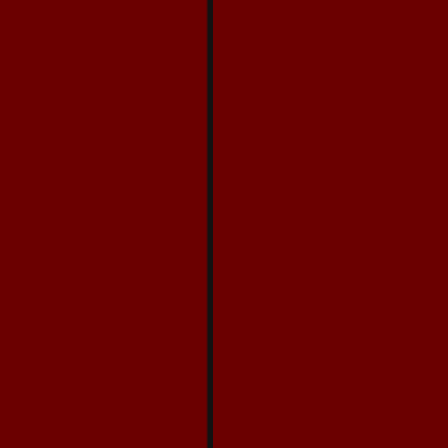[Figure (screenshot): Forum page screenshot showing dark red left panel, gray image area with partial circular patch/badge image visible in top right, and forum posts below with user profiles and post content]
waa49
Member
Posts: 155
From: Neu-Isenburg, Germany, Hessen
Registered: Sep 2015
posted 03-30-20...
The word in the ... "Astraeus" or wh...
KAPTEC
Member
Posts: 619
From: Madrid, Spain
Registered: Oct 2005
posted 03-30-20...
Has any astrona...
Liembo
Member